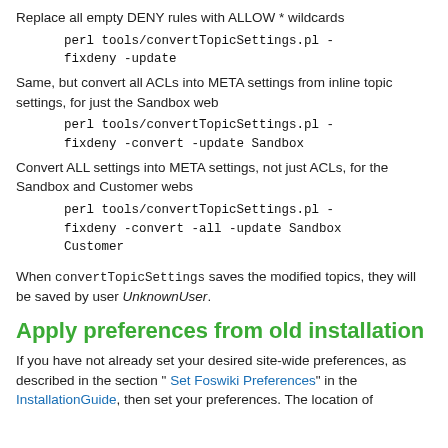Replace all empty DENY rules with ALLOW * wildcards
perl tools/convertTopicSettings.pl -fixdeny -update
Same, but convert all ACLs into META settings from inline topic settings, for just the Sandbox web
perl tools/convertTopicSettings.pl -fixdeny -convert -update Sandbox
Convert ALL settings into META settings, not just ACLs, for the Sandbox and Customer webs
perl tools/convertTopicSettings.pl -fixdeny -convert -all -update Sandbox Customer
When convertTopicSettings saves the modified topics, they will be saved by user UnknownUser.
Apply preferences from old installation
If you have not already set your desired site-wide preferences, as described in the section " Set Foswiki Preferences" in the InstallationGuide, then set your preferences. The location of